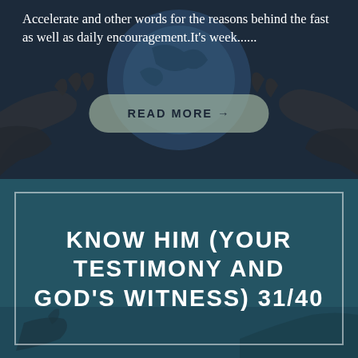[Figure (photo): Dark overlay image of hands holding a globe, with teal and dark blue tones]
Accelerate and other words for the reasons behind the fast as well as daily encouragement.It's week......
READ MORE →
[Figure (photo): Dark teal background image with a person writing, partially visible at the bottom]
KNOW HIM (YOUR TESTIMONY AND GOD'S WITNESS) 31/40